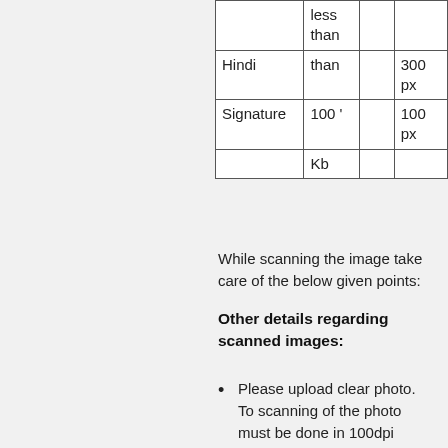|  | less than |  |  |
| Hindi | than |  | 300 px |
| Signature | 100 ' |  | 100 px |
|  | Kb |  |  |
While scanning the image take care of the below given points:
Other details regarding scanned images:
Please upload clear photo. To scanning of the photo must be done in 100dpi only.
Photo must not be clicked before January 01, 2021, and must have the name and date of taking the photo. Check the